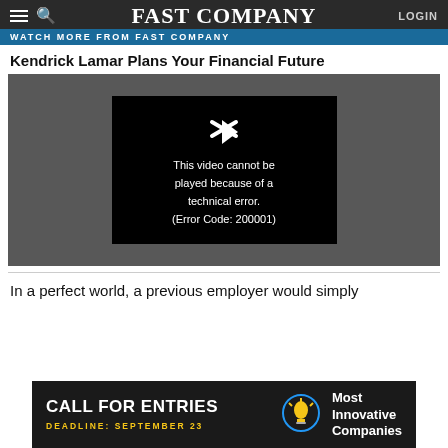FAST COMPANY
WATCH MORE FROM FAST COMPANY
Kendrick Lamar Plans Your Financial Future
[Figure (screenshot): Video player showing error message: 'This video cannot be played because of a technical error. (Error Code: 200001)']
In a perfect world, a previous employer would simply
[Figure (infographic): Advertisement banner: CALL FOR ENTRIES - DEADLINE: SEPTEMBER 23 - Most Innovative Companies]